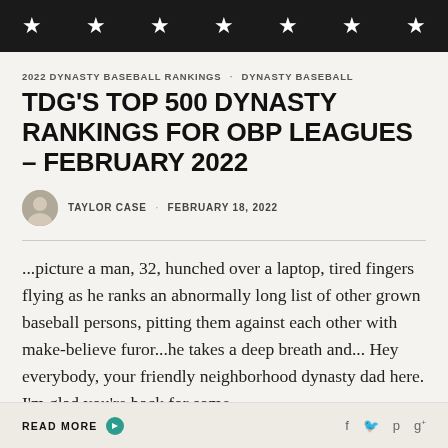[Figure (other): Dark hero banner with stars on black background]
2022 DYNASTY BASEBALL RANKINGS · DYNASTY BASEBALL
TDG'S TOP 500 DYNASTY RANKINGS FOR OBP LEAGUES – FEBRUARY 2022
TAYLOR CASE · FEBRUARY 18, 2022
...picture a man, 32, hunched over a laptop, tired fingers flying as he ranks an abnormally long list of other grown baseball persons, pitting them against each other with make-believe furor...he takes a deep breath and... Hey everybody, your friendly neighborhood dynasty dad here. I'm glad you're back for some
READ MORE